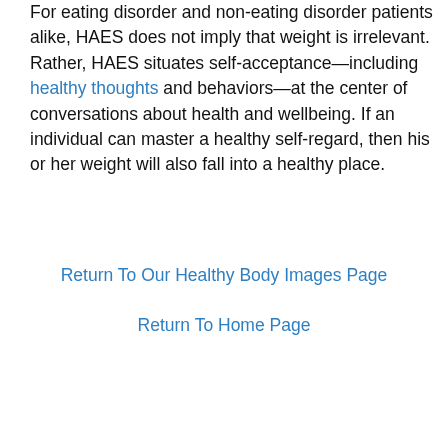For eating disorder and non-eating disorder patients alike, HAES does not imply that weight is irrelevant. Rather, HAES situates self-acceptance—including healthy thoughts and behaviors—at the center of conversations about health and wellbeing. If an individual can master a healthy self-regard, then his or her weight will also fall into a healthy place.
Return To Our Healthy Body Images Page
Return To Home Page